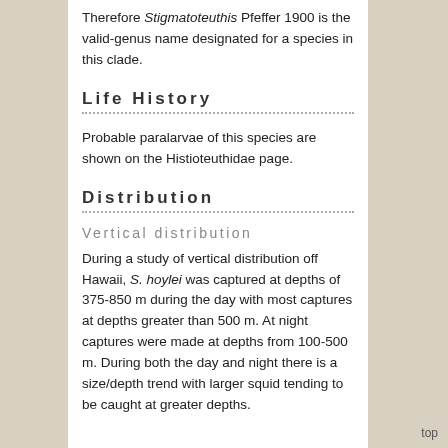Therefore Stigmatoteuthis Pfeffer 1900 is the valid-genus name designated for a species in this clade.
Life History
Probable paralarvae of this species are shown on the Histioteuthidae page.
Distribution
Vertical distribution
During a study of vertical distribution off Hawaii, S. hoylei was captured at depths of 375-850 m during the day with most captures at depths greater than 500 m. At night captures were made at depths from 100-500 m. During both the day and night there is a size/depth trend with larger squid tending to be caught at greater depths.
top